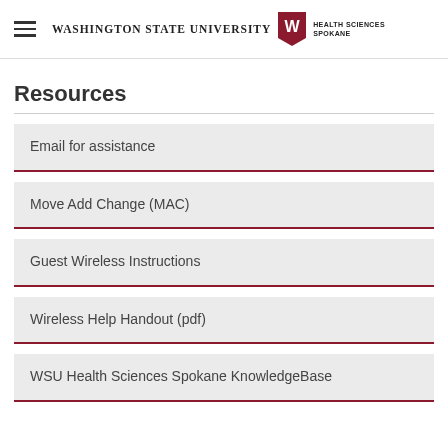Washington State University Health Sciences Spokane
Resources
Email for assistance
Move Add Change (MAC)
Guest Wireless Instructions
Wireless Help Handout (pdf)
WSU Health Sciences Spokane KnowledgeBase